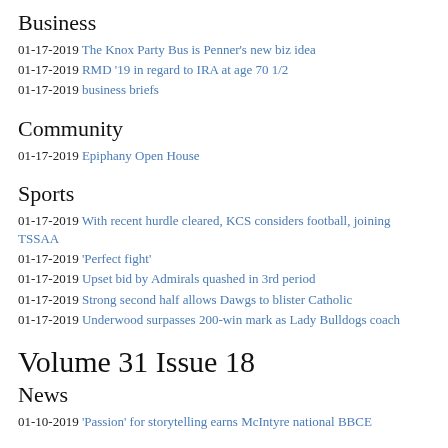Business
01-17-2019 The Knox Party Bus is Penner's new biz idea
01-17-2019 RMD '19 in regard to IRA at age 70 1/2
01-17-2019 business briefs
Community
01-17-2019 Epiphany Open House
Sports
01-17-2019 With recent hurdle cleared, KCS considers football, joining TSSAA
01-17-2019 'Perfect fight'
01-17-2019 Upset bid by Admirals quashed in 3rd period
01-17-2019 Strong second half allows Dawgs to blister Catholic
01-17-2019 Underwood surpasses 200-win mark as Lady Bulldogs coach
Volume 31 Issue 18
News
01-10-2019 'Passion' for storytelling earns McIntyre national BBCE